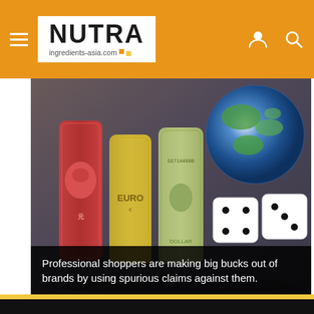NUTRA ingredients-asia.com
[Figure (photo): Rolled currency bills (Chinese yuan, Euro, US dollar) standing upright next to two white dice and a globe on a dark background]
Professional shoppers are making big bucks out of brands by using spurious claims against them.
This website uses cookies. By continuing to browse our website, you are agreeing to our use of cookies. You can learn more about cookies by visiting our privacy & cookies policy page.
I Agree